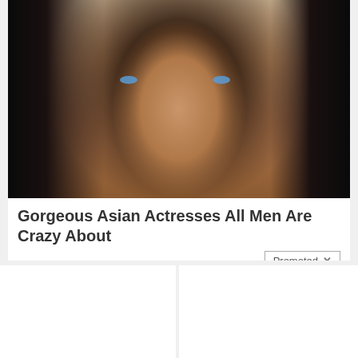[Figure (photo): Close-up photo of a woman with dark hair and blue eyes, light makeup, for a clickbait advertisement]
Gorgeous Asian Actresses All Men Are Crazy About
Promoted ×
[Figure (illustration): Animated illustration of a person doing an exercise, with a play button overlay, for a health advertisement]
How To Reduce Enlarged Prostates Without Surgery Do This Daily
2,619
[Figure (photo): Photo of two women wearing pink outfits sitting on a couch, for a weight loss advertisement]
A Teaspoon On An Empty Stomach Burns 12 Lbs Of Fat A Week Safely!
10,699